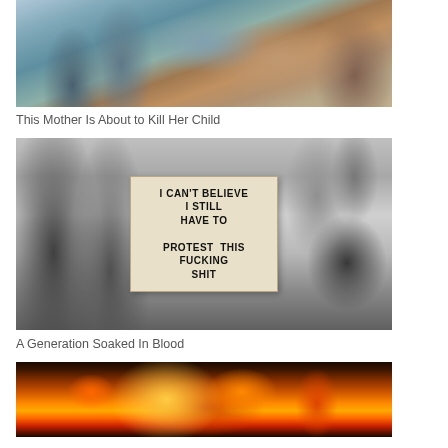[Figure (photo): Medical examination room with a dental/examination chair, medical equipment on wheels, cabinets, and medical apparatus. A person in a striped shirt is partially visible at the top.]
This Mother Is About to Kill Her Child
[Figure (photo): Black and white photo of a person holding a protest sign that reads: I CAN'T BELIEVE I STILL HAVE TO PROTEST THIS FUCKING SHIT. Other people's legs and feet are visible in the background.]
A Generation Soaked In Blood
[Figure (photo): Photo of a large fire with orange and red flames and smoke, partially visible at the bottom of the page.]